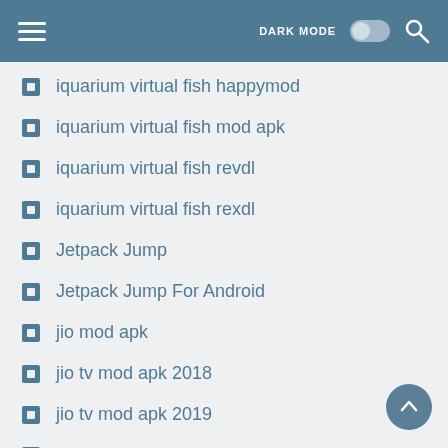DARK MODE [toggle] [search]
iquarium virtual fish happymod
iquarium virtual fish mod apk
iquarium virtual fish revdl
iquarium virtual fish rexdl
Jetpack Jump
Jetpack Jump For Android
jio mod apk
jio tv mod apk 2018
jio tv mod apk 2019
jio tv mod apk download
jio tv mod apk latest version